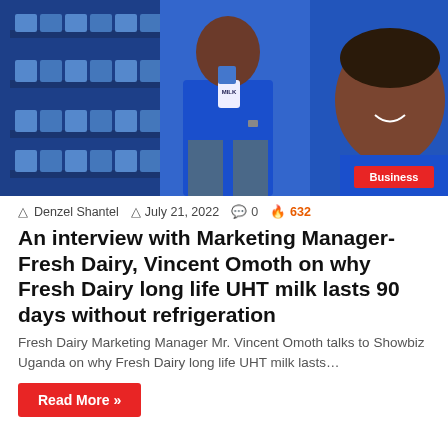[Figure (photo): Photo of a man in a blue t-shirt holding a milk packet, standing next to a display rack of Fresh Dairy milk packets. On the right side, a large billboard image of a smiling woman in a blue outfit. A red 'Business' badge is in the bottom-right corner of the photo.]
Denzel Shantel  July 21, 2022  0  632
An interview with Marketing Manager-Fresh Dairy, Vincent Omoth on why Fresh Dairy long life UHT milk lasts 90 days without refrigeration
Fresh Dairy Marketing Manager Mr. Vincent Omoth talks to Showbiz Uganda on why Fresh Dairy long life UHT milk lasts…
Read More »